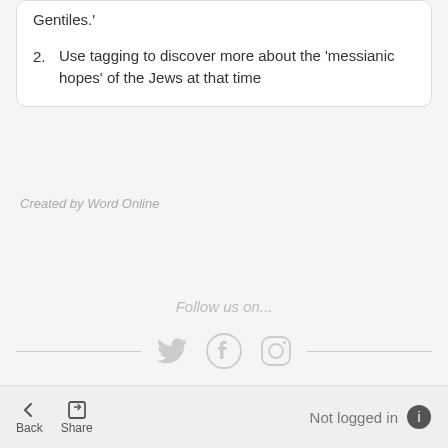Gentiles.'
2. Use tagging to discover more about the 'messianic hopes' of the Jews at that time
Created by Word Online
Follow us on...
[Figure (illustration): Social media icons: Twitter bird, Facebook F in circle, Instagram camera in rounded square, flanked by horizontal lines]
Back  Share  Not logged in